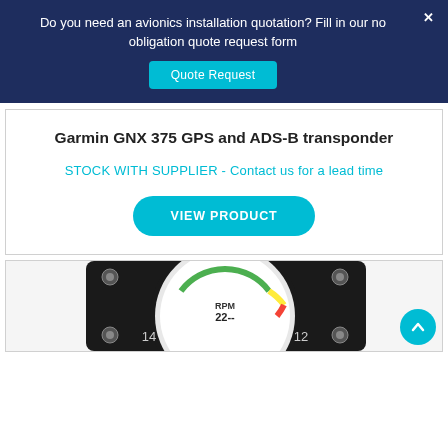Do you need an avionics installation quotation? Fill in our no obligation quote request form
Quote Request
Garmin GNX 375 GPS and ADS-B transponder
STOCK WITH SUPPLIER - Contact us for a lead time
VIEW PRODUCT
[Figure (photo): Partial view of an RPM gauge instrument with black bezel, showing dial face with RPM label and numbers 14 and 12 visible, with colored arc segments]